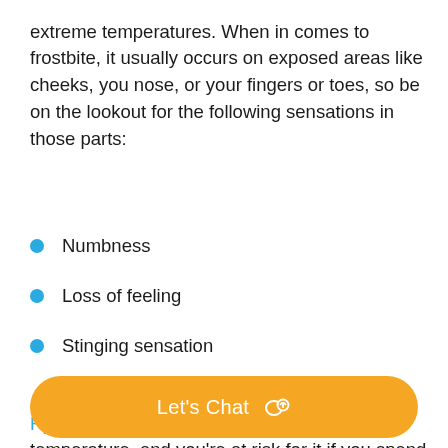hypothermia if you are going to spend time outside in more extreme temperatures. When in comes to frostbite, it usually occurs on exposed areas like cheeks, you nose, or your fingers or toes, so be on the lookout for the following sensations in those parts:
Numbness
Loss of feeling
Stinging sensation
Hypothermia is an abnormally low body temperature, and you're at risk for it if you spend prolonged periods outside in very cold – and especially wet – weather. If you experience any of the following signs/symptoms of hypothermia, seek medical attention:
Let's Chat